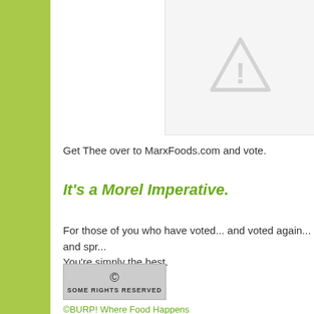[Figure (illustration): Broken image placeholder with grey warning triangle icon on light grey background]
Get Thee over to MarxFoods.com and vote.
It's a Morel Imperative.
For those of you who have voted... and voted again... and spr...
You're simply the best.
[Figure (logo): Creative Commons Some Rights Reserved badge - grey rectangular badge with CC circle logo and text SOME RIGHTS RESERVED]
©BURP! Where Food Happens